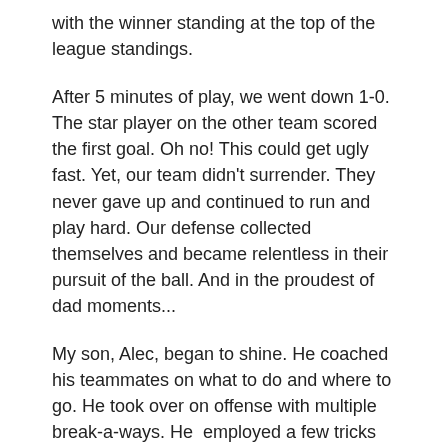with the winner standing at the top of the league standings.
After 5 minutes of play, we went down 1-0. The star player on the other team scored the first goal. Oh no! This could get ugly fast. Yet, our team didn't surrender. They never gave up and continued to run and play hard. Our defense collected themselves and became relentless in their pursuit of the ball. And in the proudest of dad moments...
My son, Alec, began to shine. He coached his teammates on what to do and where to go. He took over on offense with multiple break-a-ways. He  employed a few tricks that left the defenders watching him as he passed them by. After the dust settled, Alec had four goals on the tally sheet. We won 4-1.
Sometimes, a player gets lucky. Other times, a player just